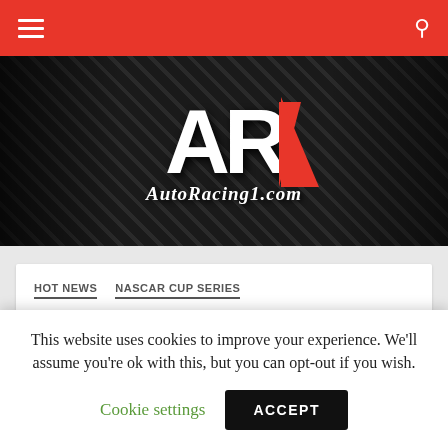AutoRacing1.com navigation bar
[Figure (logo): AutoRacing1.com website banner with AR logo in white bold letters with a red diagonal stripe, set against a dark carbon-fiber textured background with racing car images on each side, and the text AutoRacing1.com in italic white below]
HOT NEWS   NASCAR CUP SERIES
NASCAR Unveils 2013 Sprint Cup Schedule
This website uses cookies to improve your experience. We'll assume you're ok with this, but you can opt-out if you wish.
Cookie settings   ACCEPT